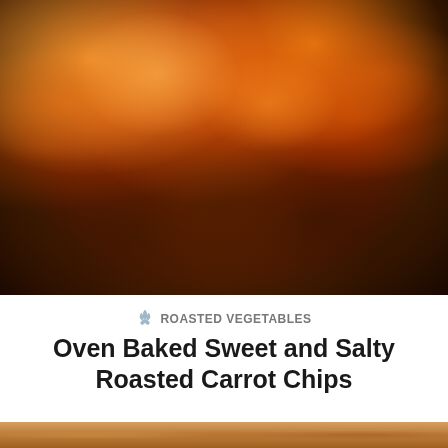[Figure (photo): Close-up photo of crispy orange-colored oven baked carrot chips piled high in a dark black bowl, shot from above at an angle. Chips are wavy and ruffled in texture, brightly orange-amber colored against a light background.]
ROASTED VEGETABLES
Oven Baked Sweet and Salty Roasted Carrot Chips
[Figure (photo): Partial view of another food photo at the bottom of the page, partially cropped.]